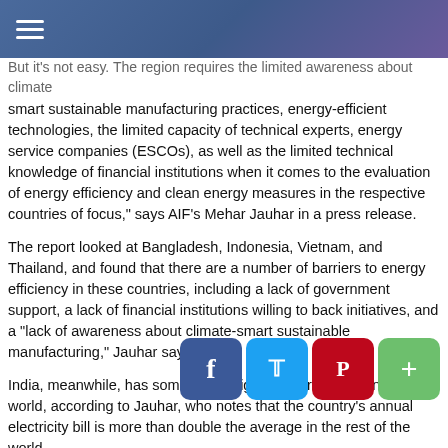Navigation menu header bar
But it's not easy. The region requires the limited awareness about climate smart sustainable manufacturing practices, energy-efficient technologies, the limited capacity of technical experts, energy service companies (ESCOs), as well as the limited technical knowledge of financial institutions when it comes to the evaluation of energy efficiency and clean energy measures in the respective countries of focus," says AIF's Mehar Jauhar in a press release.
The report looked at Bangladesh, Indonesia, Vietnam, and Thailand, and found that there are a number of barriers to energy efficiency in these countries, including a lack of government support, a lack of financial institutions willing to back initiatives, and a "lack of awareness about climate-smart sustainable manufacturing," Jauhar says.
India, meanwhile, has some of the highest energy costs in the world, according to Jauhar, who notes that the country's annual electricity bill is more than double the average in the rest of the world.
But Jauhar's research shows that businesses in these countries can save up to 30% on their energy costs by adopting greater efficiencies. Read the Entire Article
Selected Grant News H...
A customized collection of grant news from found... government from around the Web.